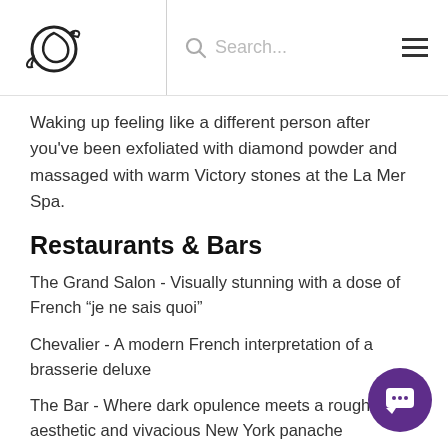Search...
Waking up feeling like a different person after you’ve been exfoliated with diamond powder and massaged with warm Victory stones at the La Mer Spa.
Restaurants & Bars
The Grand Salon - Visually stunning with a dose of French “je ne sais quoi”
Chevalier - A modern French interpretation of a brasserie deluxe
The Bar - Where dark opulence meets a rough-hewn aesthetic and vivacious New York panache
Location
The hotel is right across from the MoMA for those to join the city’s art world. Also, just off Fifth Avenu hotel enjoys a prime location for those looking to shop the